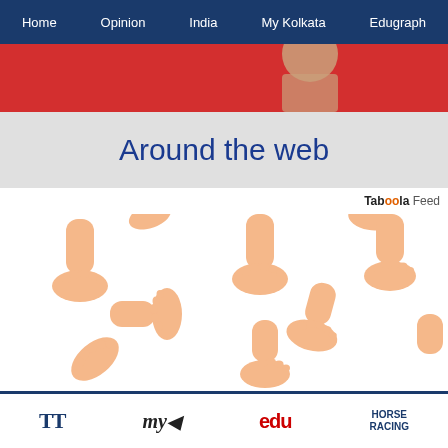Home | Opinion | India | My Kolkata | Edugraph
[Figure (photo): Red banner with partial view of a person in red clothing]
Around the web
Taboola Feed
[Figure (illustration): Multiple illustrated human feet and ankles scattered in various positions and orientations on a white background]
TT | my Kolkata | edu | HORSE RACING